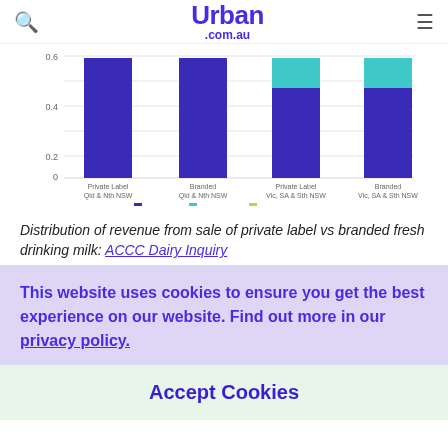Urban .com.au
[Figure (stacked-bar-chart): Distribution of revenue from sale of private label vs branded fresh drinking milk]
Distribution of revenue from sale of private label vs branded fresh drinking milk: ACCC Dairy Inquiry
This website uses cookies to ensure you get the best experience on our website. Find out more in our privacy policy.
Accept Cookies